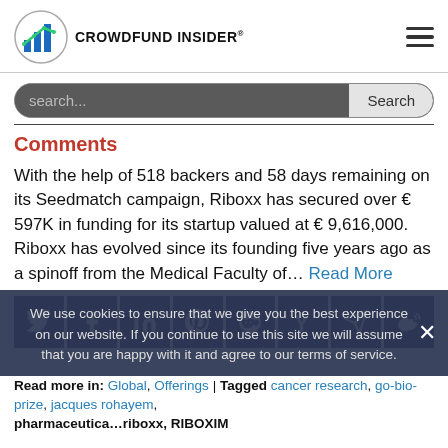CROWDFUND INSIDER
Comments
With the help of 518 backers and 58 days remaining on its Seedmatch campaign, Riboxx has secured over € 597K in funding for its startup valued at € 9,616,000. Riboxx has evolved since its founding five years ago as a spinoff from the Medical Faculty of... Read More
Read more in: Global, Offerings | Tagged cancer research, go-bio-prize, jacques rohayem, pharmaceuticals, riboxx, RIBOXIM
We use cookies to ensure that we give you the best experience on our website. If you continue to use this site we will assume that you are happy with it and agree to our terms of service.